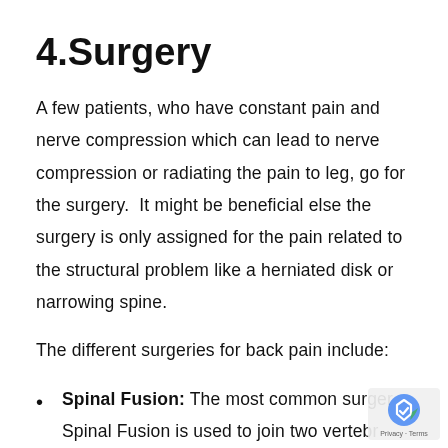4.Surgery
A few patients, who have constant pain and nerve compression which can lead to nerve compression or radiating the pain to leg, go for the surgery.  It might be beneficial else the surgery is only assigned for the pain related to the structural problem like a herniated disk or narrowing spine.
The different surgeries for back pain include:
Spinal Fusion: The most common surgery. Spinal Fusion is used to join two vertebra together, with a metal plate and screw, to